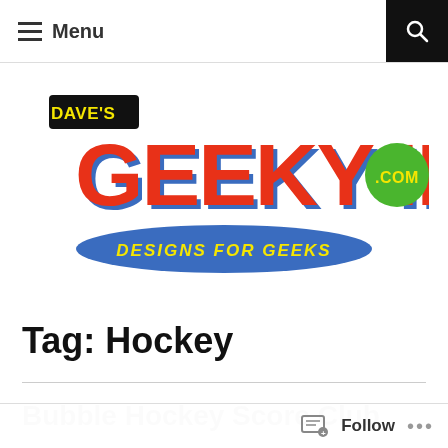Menu
[Figure (logo): Dave's Geeky Ideas .com — Designs for Geeks logo. Large red comic-book style lettering 'GEEKY IDEAS' with blue shadow, small black badge 'DAVE'S' in yellow text top-left, green circle badge with '.COM' on the right, blue banner below reading 'DESIGNS FOR GEEKS' in yellow italic text.]
Tag: Hockey
Bubble Hockey Score Club
Follow